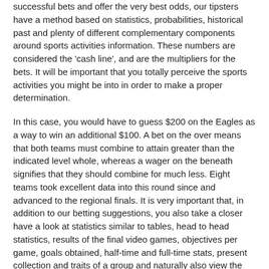successful bets and offer the very best odds, our tipsters have a method based on statistics, probabilities, historical past and plenty of different complementary components around sports activities information. These numbers are considered the 'cash line', and are the multipliers for the bets. It will be important that you totally perceive the sports activities you might be into in order to make a proper determination.
In this case, you would have to guess $200 on the Eagles as a way to win an additional $100. A bet on the over means that both teams must combine to attain greater than the indicated level whole, whereas a wager on the beneath signifies that they should combine for much less. Eight teams took excellent data into this round since and advanced to the regional finals. It is very important that, in addition to our betting suggestions, you also take a closer have a look at statistics similar to tables, head to head statistics, results of the final video games, objectives per game, goals obtained, half-time and full-time stats, present collection and traits of a group and naturally also view the respective squads and lineups of the groups. With the ambition that can assist you along with your free sports betting predictions, be it on Euro 2020 betting suggestions or extra normally on football, tennis, rugby or basketball, our professional consultants and tipsters analyse every single day dozens of competitions, bets, players and groups so that you can optimize your chances of successful bets.